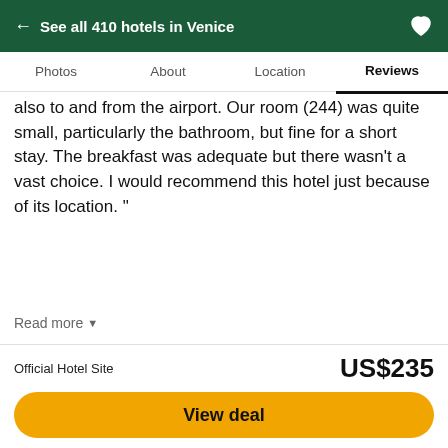← See all 410 hotels in Venice
Photos  About  Location  Reviews
also to and from the airport. Our room (244) was quite small, particularly the bathroom, but fine for a short stay. The breakfast was adequate but there wasn't a vast choice. I would recommend this hotel just because of its location. "
Read more ▼
Review collected in partnership with Jet2holidays
Date of stay: July 2022
This review is the subjective opinion of an individual traveller and not of Tripadvisor LLC nor of its partners. Tripadvisor performs checks on reviews.
Official Hotel Site
US$235
View deal